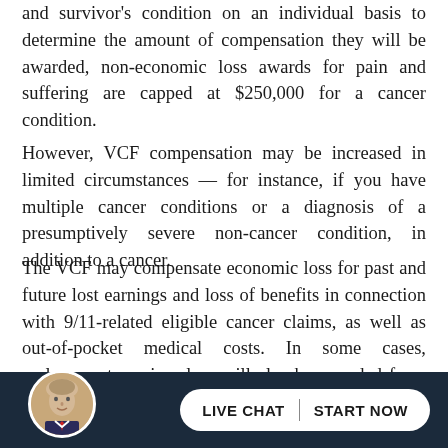and survivor's condition on an individual basis to determine the amount of compensation they will be awarded, non-economic loss awards for pain and suffering are capped at $250,000 for a cancer condition.
However, VCF compensation may be increased in limited circumstances — for instance, if you have multiple cancer conditions or a diagnosis of a presumptively severe non-cancer condition, in addition to a cancer.
The VCF may compensate economic loss for past and future lost earnings and loss of benefits in connection with 9/11-related eligible cancer claims, as well as out-of-pocket medical costs. In some cases, replacement services loss will also be awarded for a VCF personal injury claim.
[Figure (photo): Circular avatar photo of a man in a suit with a red tie, set against the dark navy bottom bar.]
LIVE CHAT | START NOW